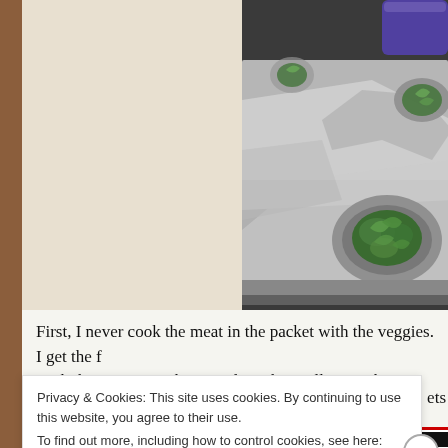[Figure (photo): Photo of foil packets with fresh green herbs/vegetables on a baking tray, with a purple container visible in the upper right corner.]
First, I never cook the meat in the packet with the veggies. I get the f... cook the meat over those coals with a grill grate above them. That w... ets
Privacy & Cookies: This site uses cookies. By continuing to use this website, you agree to their use.
To find out more, including how to control cookies, see here: Cookie Policy
Close and accept